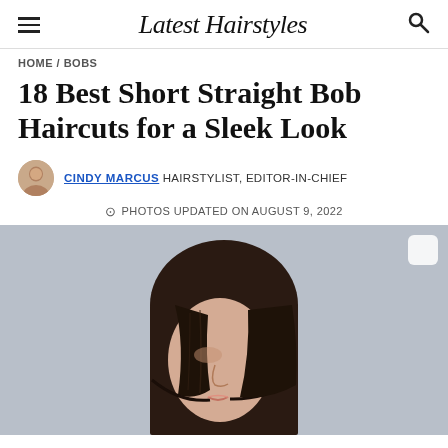Latest Hairstyles
HOME / BOBS
18 Best Short Straight Bob Haircuts for a Sleek Look
CINDY MARCUS HAIRSTYLIST, EDITOR-IN-CHIEF
PHOTOS UPDATED ON AUGUST 9, 2022
[Figure (photo): Woman with a short straight bob haircut, side profile, dark brown hair, light blue-grey background]